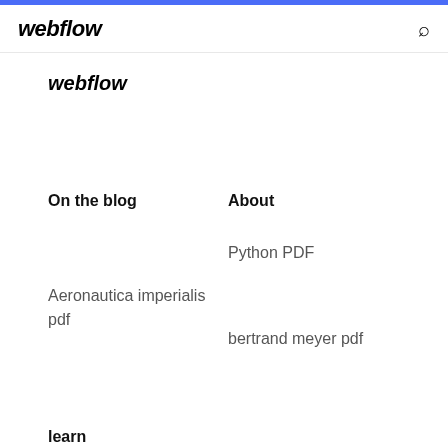webflow
webflow
On the blog
About
Python PDF
Aeronautica imperialis pdf
bertrand meyer pdf
learn